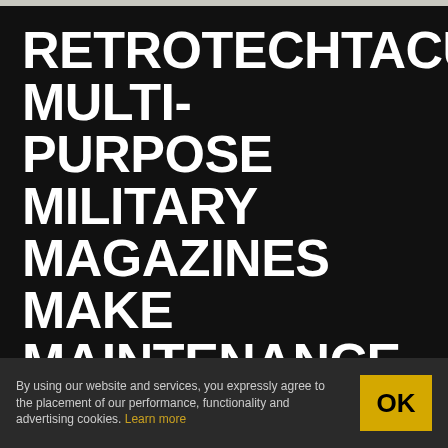RETROTECHTACULAR: MULTI-PURPOSE MILITARY MAGAZINES MAKE MAINTENANCE MEMORABLE
February 10, 2015 by Kristina Panos 💬 18 Comments
Whether you've been following Retrotechtacular for a while or have firsthand experience with the U.S. Army, you know that
By using our website and services, you expressly agree to the placement of our performance, functionality and advertising cookies. Learn more